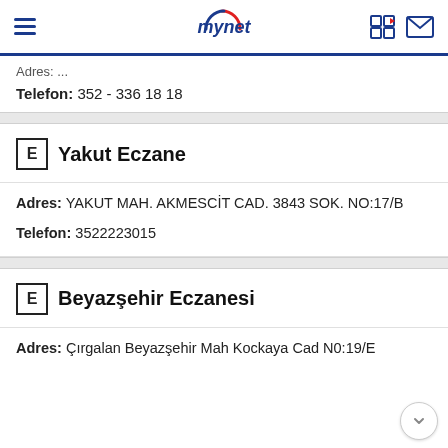mynet
Adres: (truncated)
Telefon: 352 - 336 18 18
E Yakut Eczane
Adres: YAKUT MAH. AKMESCİT CAD. 3843 SOK. NO:17/B
Telefon: 3522223015
E Beyazşehir Eczanesi
Adres: Çırgalan Beyazşehir Mah Kockaya Cad N0:19/E